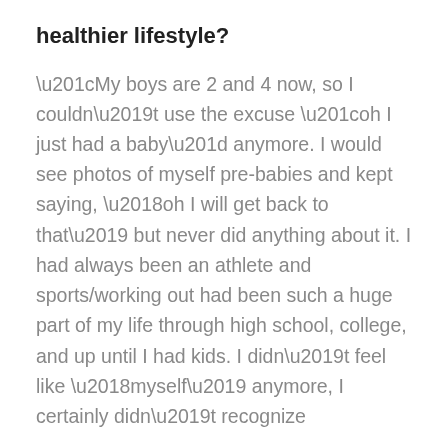healthier lifestyle?
“My boys are 2 and 4 now, so I couldn’t use the excuse “oh I just had a baby” anymore. I would see photos of myself pre-babies and kept saying, ‘oh I will get back to that’ but never did anything about it. I had always been an athlete and sports/working out had been such a huge part of my life through high school, college, and up until I had kids. I didn’t feel like ‘myself’ anymore, I certainly didn’t recognize